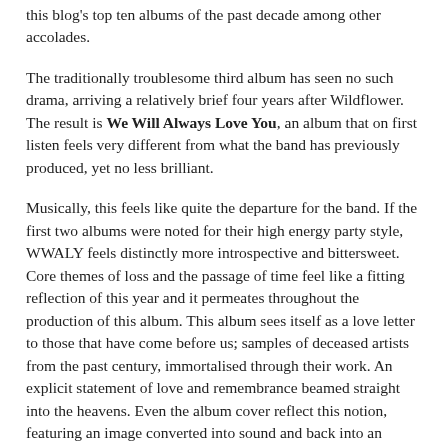this blog's top ten albums of the past decade among other accolades.
The traditionally troublesome third album has seen no such drama, arriving a relatively brief four years after Wildflower. The result is We Will Always Love You, an album that on first listen feels very different from what the band has previously produced, yet no less brilliant.
Musically, this feels like quite the departure for the band. If the first two albums were noted for their high energy party style, WWALY feels distinctly more introspective and bittersweet. Core themes of loss and the passage of time feel like a fitting reflection of this year and it permeates throughout the production of this album. This album sees itself as a love letter to those that have come before us; samples of deceased artists from the past century, immortalised through their work. An explicit statement of love and remembrance beamed straight into the heavens. Even the album cover reflect this notion, featuring an image converted into sound and back into an image of Ann Druyan, creative director of the Voyager Golden Record project, the